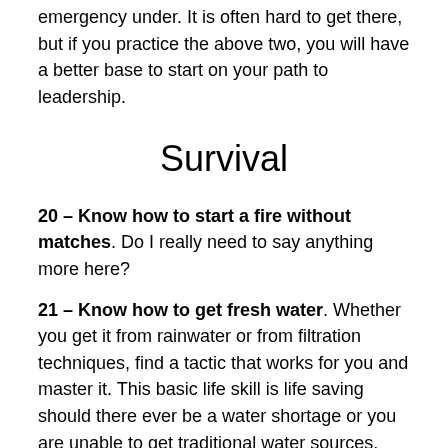emergency under. It is often hard to get there, but if you practice the above two, you will have a better base to start on your path to leadership.
Survival
20 – Know how to start a fire without matches. Do I really need to say anything more here?
21 – Know how to get fresh water. Whether you get it from rainwater or from filtration techniques, find a tactic that works for you and master it. This basic life skill is life saving should there ever be a water shortage or you are unable to get traditional water sources.
22 – Know how to get food. Again, I don't care how you do it. Whether it is through MRE stockpiles, knowledge of growing plants, fishing, hunting, etc, just